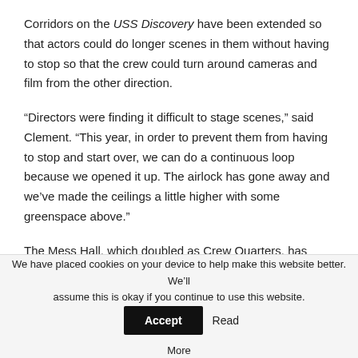Corridors on the USS Discovery have been extended so that actors could do longer scenes in them without having to stop so that the crew could turn around cameras and film from the other direction.
“Directors were finding it difficult to stage scenes,” said Clement. “This year, in order to prevent them from having to stop and start over, we can do a continuous loop because we opened it up. The airlock has gone away and we’ve made the ceilings a little higher with some greenspace above.”
The Mess Hall, which doubled as Crew Quarters, has
We have placed cookies on your device to help make this website better. We’ll assume this is okay if you continue to use this website. Accept Read More